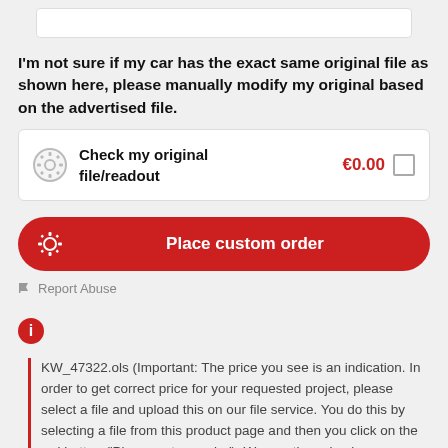I'm not sure if my car has the exact same original file as shown here, please manually modify my original based on the advertised file.
Check my original file/readout  €0.00
Place custom order
Report Abuse
KW_47322.ols (Important: The price you see is an indication. In order to get correct price for your requested project, please select a file and upload this on our file service. You do this by selecting a file from this product page and then you click on the red button ('Place custom order'). We can then check your